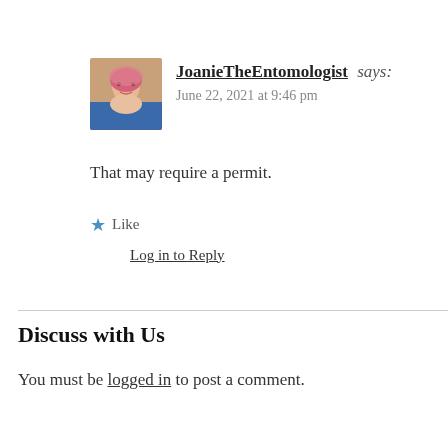[Figure (photo): Avatar photo of JoanieTheEntomologist, a person with pink hair and blue clothing]
JoanieTheEntomologist says: June 22, 2021 at 9:46 pm
That may require a permit.
★ Like
Log in to Reply
Discuss with Us
You must be logged in to post a comment.